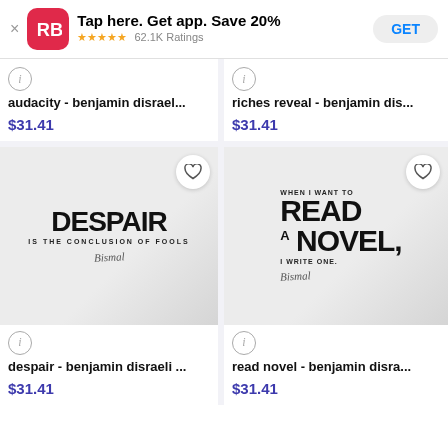[Figure (screenshot): App download banner for RB app: Tap here. Get app. Save 20%, 5 stars, 62.1K Ratings, GET button]
audacity - benjamin disrael...
$31.41
riches reveal - benjamin dis...
$31.41
[Figure (photo): Mug with text: DESPAIR IS THE CONCLUSION OF FOOLS with signature]
[Figure (photo): Mug with text: WHEN I WANT TO READ A NOVEL, I WRITE ONE. with signature]
despair - benjamin disraeli ...
$31.41
read novel - benjamin disra...
$31.41